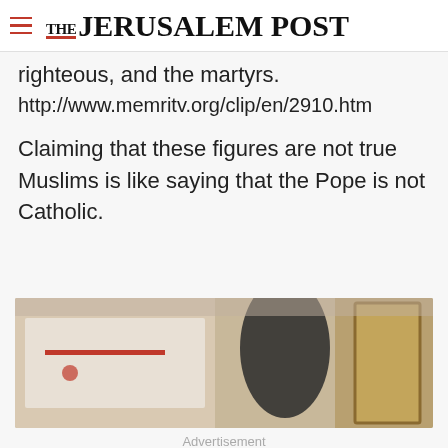THE JERUSALEM POST
righteous, and the martyrs.
http://www.memritv.org/clip/en/2910.htm
Claiming that these figures are not true Muslims is like saying that the Pope is not Catholic.
[Figure (photo): Blurred advertisement image showing a document or sign with a red line, and a room interior in the background]
Advertisement